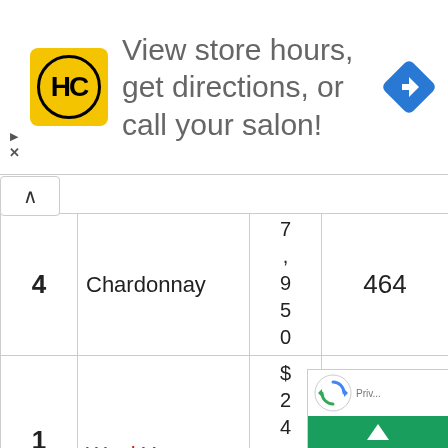[Figure (screenshot): Advertisement banner: HC logo (yellow circle with HC text), text 'View store hours, get directions, or call your salon!', and a blue navigation arrow icon on the right.]
| # | Name | Price | Quantity | Amount |
| --- | --- | --- | --- | --- |
| 4 | Chardonnay | 7,950 | 464 | 240 |
| 15 | Wool Yarn | $24,250 | 225 | 60 |
|  |  | $16... |  |  |